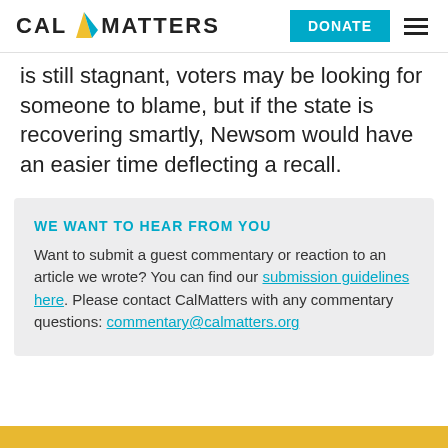CalMatters | DONATE
is still stagnant, voters may be looking for someone to blame, but if the state is recovering smartly, Newsom would have an easier time deflecting a recall.
WE WANT TO HEAR FROM YOU
Want to submit a guest commentary or reaction to an article we wrote? You can find our submission guidelines here. Please contact CalMatters with any commentary questions: commentary@calmatters.org